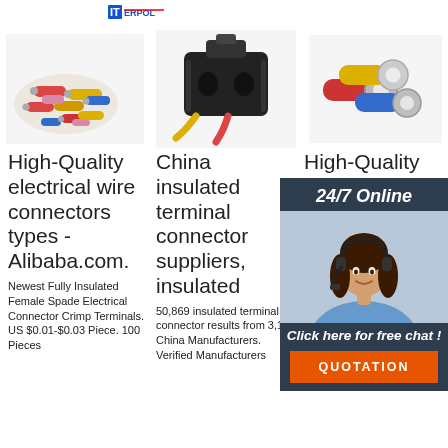[Figure (photo): Logo - ITE brand logo top left]
[Figure (photo): Colorful assorted insulated electrical wire connectors/terminals scattered]
[Figure (photo): Black waterproof sealed automotive electrical connector (2-pin) with yellow wires]
[Figure (photo): Three insulated ring/spade terminals - red, yellow, blue]
High-Quality electrical wire connectors types - Alibaba.com.
China insulated terminal connector suppliers, insulated
High-Quality thermal terminal Wholesale Price
Newest Fully Insulated Female Spade Electrical Connector Crimp Terminals. US $0.01-$0.03 Piece. 100 Pieces
50,869 insulated terminal connector results from 3,181 China Manufacturers. Verified Manufacturers
Alibaba offers a huge selection of durable thermal terminal from trusted suppliers, manufacturers and wholesalers.
[Figure (photo): 24/7 Online chat widget overlay with customer service agent photo, 'Click here for free chat!' text and orange QUOTATION button]